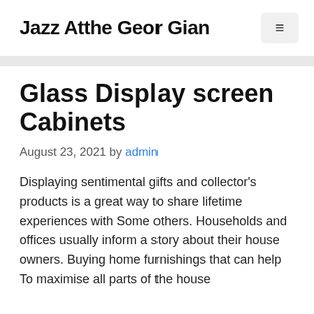Jazz Atthe Geor Gian
Glass Display screen Cabinets
August 23, 2021 by admin
Displaying sentimental gifts and collector's products is a great way to share lifetime experiences with Some others. Households and offices usually inform a story about their house owners. Buying home furnishings that can help To maximise all parts of the house